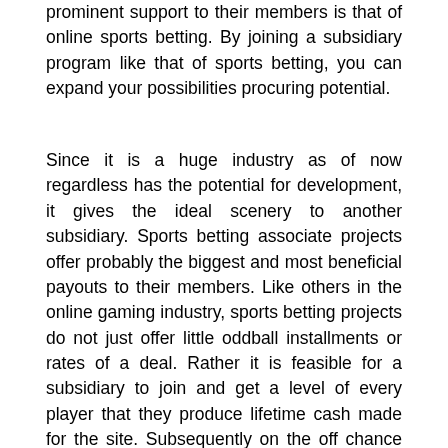prominent support to their members is that of online sports betting. By joining a subsidiary program like that of sports betting, you can expand your possibilities procuring potential.
Since it is a huge industry as of now regardless has the potential for development, it gives the ideal scenery to another subsidiary. Sports betting associate projects offer probably the biggest and most beneficial payouts to their members. Like others in the online gaming industry, sports betting projects do not just offer little oddball installments or rates of a deal. Rather it is feasible for a subsidiary to join and get a level of every player that they produce lifetime cash made for the site. Subsequently on the off chance that an individual signs up and bets everyday for a couple of years the partner remains in line to procure a sizeable piece of the bookmakers benefits for the whole. In